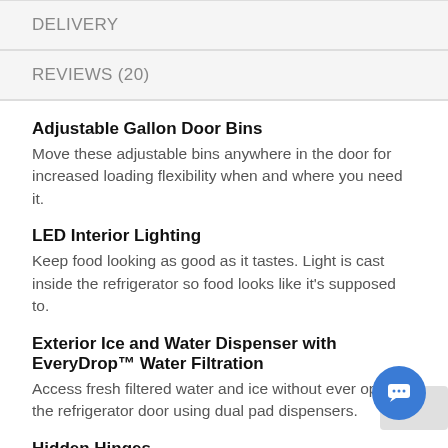DELIVERY
REVIEWS (20)
Adjustable Gallon Door Bins
Move these adjustable bins anywhere in the door for increased loading flexibility when and where you need it.
LED Interior Lighting
Keep food looking as good as it tastes. Light is cast inside the refrigerator so food looks like it's supposed to.
Exterior Ice and Water Dispenser with EveryDrop™ Water Filtration
Access fresh filtered water and ice without ever opening the refrigerator door using dual pad dispensers.
Hidden Hinges
Get a seamless look with door hinges that stay out of sight.